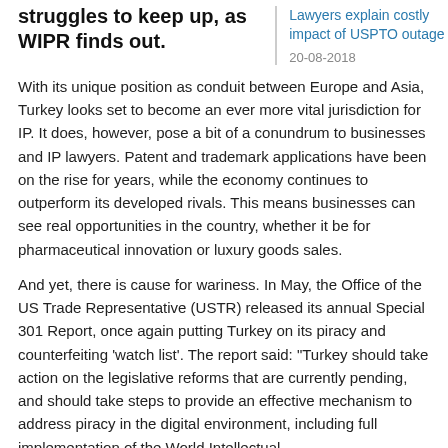struggles to keep up, as WIPR finds out.
Lawyers explain costly impact of USPTO outage
20-08-2018
With its unique position as conduit between Europe and Asia, Turkey looks set to become an ever more vital jurisdiction for IP. It does, however, pose a bit of a conundrum to businesses and IP lawyers. Patent and trademark applications have been on the rise for years, while the economy continues to outperform its developed rivals. This means businesses can see real opportunities in the country, whether it be for pharmaceutical innovation or luxury goods sales.
And yet, there is cause for wariness. In May, the Office of the US Trade Representative (USTR) released its annual Special 301 Report, once again putting Turkey on its piracy and counterfeiting 'watch list'. The report said: "Turkey should take action on the legislative reforms that are currently pending, and should take steps to provide an effective mechanism to address piracy in the digital environment, including full implementation of the World Intellectual